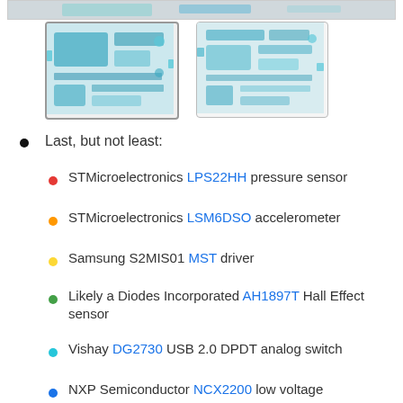[Figure (photo): Top strip showing partial PCB images]
[Figure (photo): PCB motherboard thumbnail - left, selected with border]
[Figure (photo): PCB motherboard thumbnail - right]
Last, but not least:
STMicroelectronics LPS22HH pressure sensor
STMicroelectronics LSM6DSO accelerometer
Samsung S2MIS01 MST driver
Likely a Diodes Incorporated AH1897T Hall Effect sensor
Vishay DG2730 USB 2.0 DPDT analog switch
NXP Semiconductor NCX2200 low voltage